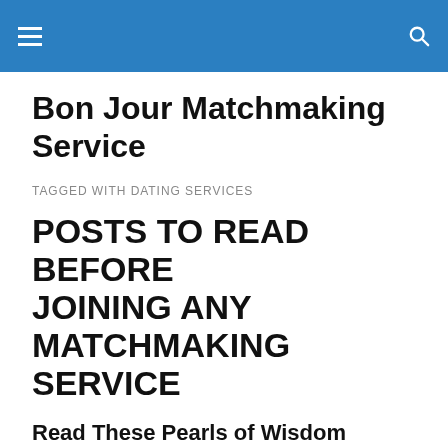Bon Jour Matchmaking Service — navigation header with hamburger menu and search icon
Bon Jour Matchmaking Service
TAGGED WITH DATING SERVICES
POSTS TO READ BEFORE JOINING ANY MATCHMAKING SERVICE
Read These Pearls of Wisdom Before
Investing in a Service